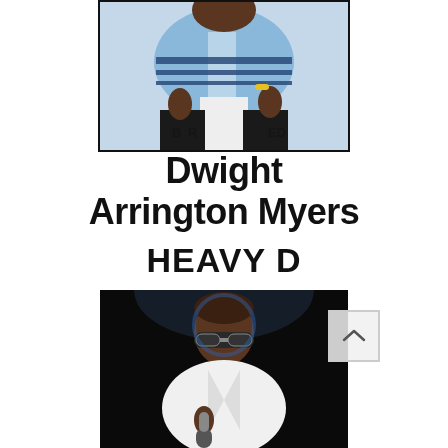[Figure (photo): Photo of Dwight 'Heavy D' Myers wearing a light blue track jacket with dark blue stripes, black pants, standing in front of a backdrop at an event. Cropped to show torso/body.]
Dwight Arrington Myers
HEAVY D
[Figure (photo): Photo of Heavy D performing on stage wearing sunglasses and a white suit jacket, holding a microphone, against a dark background.]